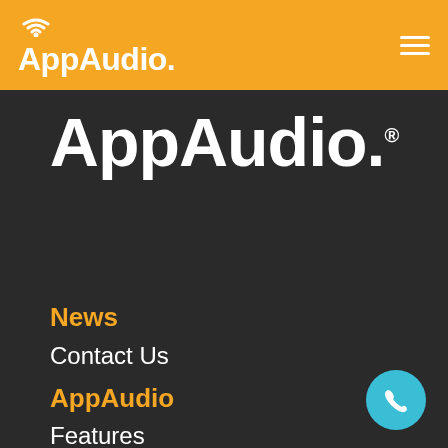AppAudio.
[Figure (logo): AppAudio logo in large white bold text with registered trademark symbol on dark background]
News
Contact Us
AppAudio
Features
Hardware